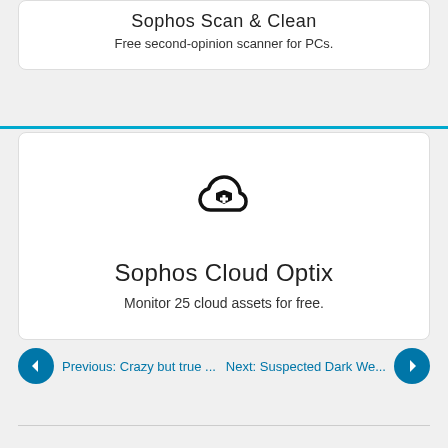Sophos Scan & Clean
Free second-opinion scanner for PCs.
[Figure (logo): Sophos Cloud Optix icon: cloud shape with a shield and plus sign inside, black outline]
Sophos Cloud Optix
Monitor 25 cloud assets for free.
Previous: Crazy but true ...
Next: Suspected Dark We...